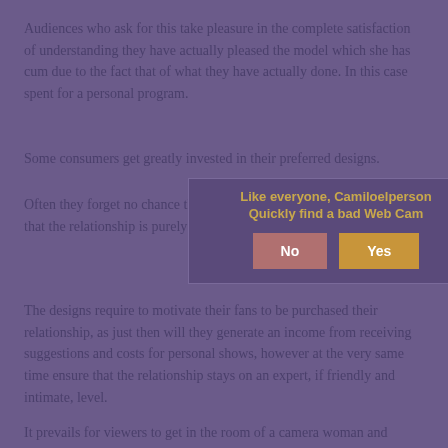Audiences who ask for this take pleasure in the complete satisfaction of understanding they have actually pleased the model which she has cum due to the fact that of what they have actually done. In this case spent for a personal program.
Some consumers get greatly invested in their preferred designs.
Often they forget no chance they will ever get to fulfill in person and that the relationship is purely online and part of paid entertainment.
[Figure (other): Modal dialog overlay with title 'Like everyone, Camiloelperson Quickly find a bad Web Cam' and two buttons: No and Yes]
The designs require to motivate their fans to be purchased their relationship, as just then will they generate an income from receiving suggestions and costs for personal shows, however at the very same time ensure that the relationship stays on an expert, if friendly and intimate, level.
It prevails for viewers to get in the room of a camera woman and